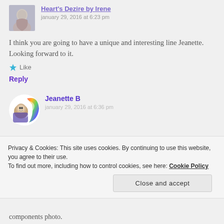Heart's Dezire by Irene
january 29, 2016 at 6:23 pm
I think you are going to have a unique and interesting line Jeanette. Looking forward to it.
Like
Reply
Jeanette B
january 29, 2016 at 6:36 pm
Privacy & Cookies: This site uses cookies. By continuing to use this website, you agree to their use.
To find out more, including how to control cookies, see here: Cookie Policy
Close and accept
components photo.